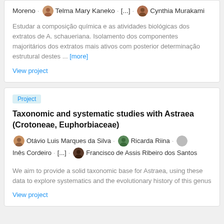Moreno · Telma Mary Kaneko · [...] · Cynthia Murakami
Estudar a composição química e as atividades biológicas dos extratos de A. schaueriana. Isolamento dos componentes majoritários dos extratos mais ativos com posterior determinação estrutural destes ... [more]
View project
Project
Taxonomic and systematic studies with Astraea (Crotoneae, Euphorbiaceae)
Otávio Luis Marques da Silva · Ricarda Riina · Inês Cordeiro · [...] · Francisco de Assis Ribeiro dos Santos
We aim to provide a solid taxonomic base for Astraea, using these data to explore systematics and the evolutionary history of this genus
View project